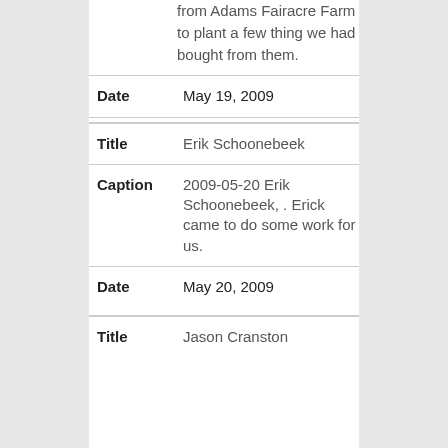from Adams Fairacre Farm to plant a few thing we had bought from them.
| Field | Value |
| --- | --- |
| Date | May 19, 2009 |
| Title | Erik Schoonebeek |
| Caption | 2009-05-20 Erik Schoonebeek, . Erick came to do some work for us. |
| Date | May 20, 2009 |
| Title | Jason Cranston |